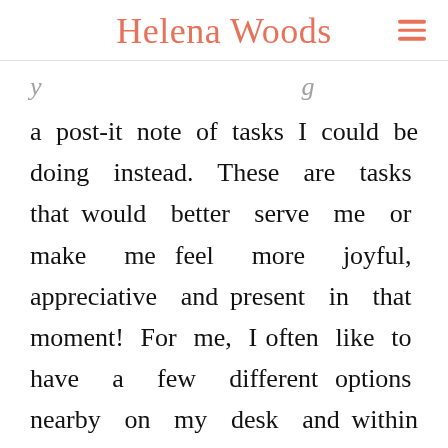Helena Woods
a post-it note of tasks I could be doing instead. These are tasks that would better serve me or make me feel more joyful, appreciative and present in that moment! For me, I often like to have a few different options nearby on my desk and within eyesight.
You can also get an